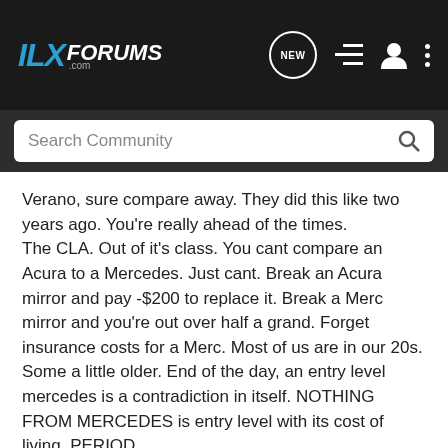ILX FORUMS .com
Search Community
Verano, sure compare away. They did this like two years ago. You're really ahead of the times.
The CLA. Out of it's class. You cant compare an Acura to a Mercedes. Just cant. Break an Acura mirror and pay -$200 to replace it. Break a Merc mirror and you're out over half a grand. Forget insurance costs for a Merc. Most of us are in our 20s. Some a little older. End of the day, an entry level mercedes is a contradiction in itself. NOTHING FROM MERCEDES is entry level with its cost of living. PERIOD.
CLA is a better luxury car and you will be paying more than twice as much to drive it for a decade.